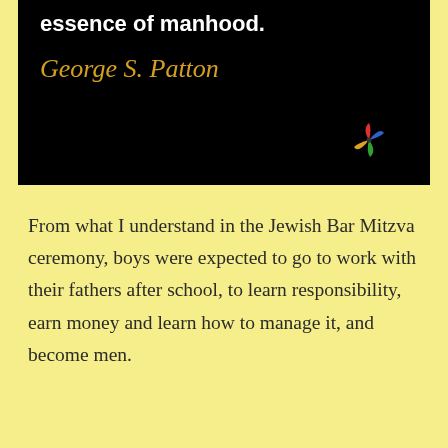[Figure (illustration): Black background quote box with bold white text reading 'essence of manhood.' and below it, the author name 'George S. Patton' in gold cursive script, with a colorful pinwheel icon in the bottom-right corner.]
From what I understand in the Jewish Bar Mitzva ceremony, boys were expected to go to work with their fathers after school, to learn responsibility, earn money and learn how to manage it, and become men.